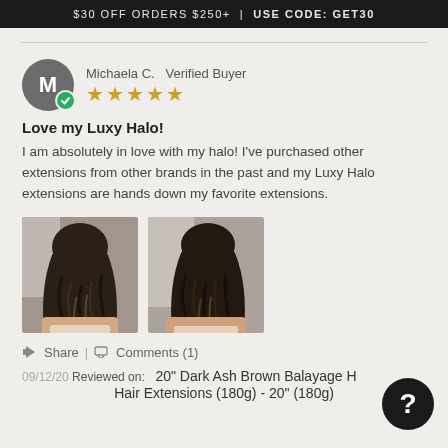$30 OFF ORDERS $250+  |  USE CODE: GET30
Michaela C.  Verified Buyer
★★★★★
Love my Luxy Halo!
I am absolutely in love with my halo! I've purchased other extensions from other brands in the past and my Luxy Halo extensions are hands down my favorite extensions.
[Figure (photo): Two side-by-side photos showing the back of a person's head with long dark wavy hair extensions]
Share  |  Comments (1)
09/12/20  Reviewed on:  20" Dark Ash Brown Balayage Halo Hair Extensions (180g) - 20" (180g)